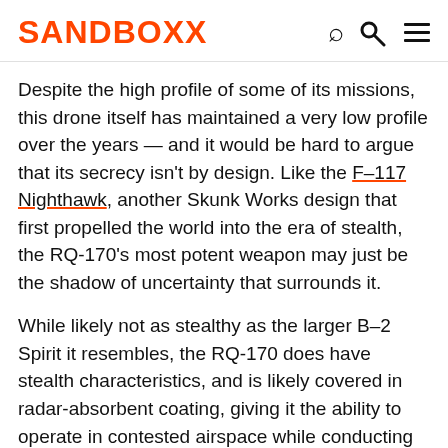SANDBOXX
Despite the high profile of some of its missions, this drone itself has maintained a very low profile over the years — and it would be hard to argue that its secrecy isn't by design. Like the F–117 Nighthawk, another Skunk Works design that first propelled the world into the era of stealth, the RQ-170's most potent weapon may just be the shadow of uncertainty that surrounds it.
While likely not as stealthy as the larger B–2 Spirit it resembles, the RQ-170 does have stealth characteristics, and is likely covered in radar-absorbent coating, giving it the ability to operate in contested airspace while conducting its secret missions.